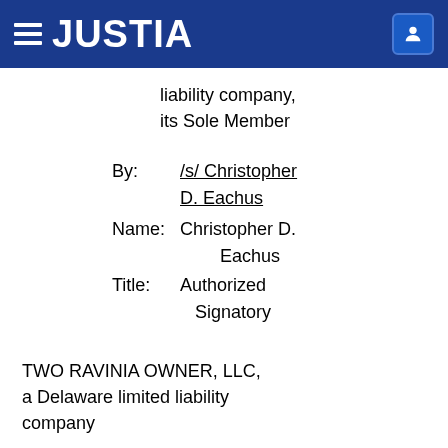JUSTIA
liability company, its Sole Member
By: /s/ Christopher D. Eachus
Name: Christopher D. Eachus
Title: Authorized Signatory
TWO RAVINIA OWNER, LLC, a Delaware limited liability company
By: Ravinia REIT Associates, LLC, a Delaware limited liability